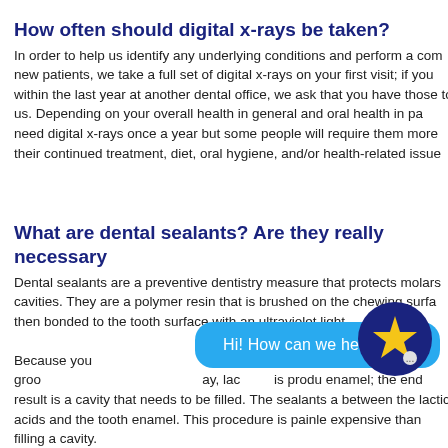How often should digital x-rays be taken?
In order to help us identify any underlying conditions and perform a com new patients, we take a full set of digital x-rays on your first visit; if you within the last year at another dental office, we ask that you have those to us. Depending on your overall health in general and oral health in pa need digital x-rays once a year but some people will require them more their continued treatment, diet, oral hygiene, and/or health-related issue
What are dental sealants? Are they really necessary
Dental sealants are a preventive dentistry measure that protects molars cavities. They are a polymer resin that is brushed on the chewing surfa then bonded to the tooth surface with an ultraviolet light.

Because you win food p in these groo ay, lac is produ enamel; the end result is a cavity that needs to be filled. The sealants a between the lactic acids and the tooth enamel. This procedure is painle expensive than filling a cavity.